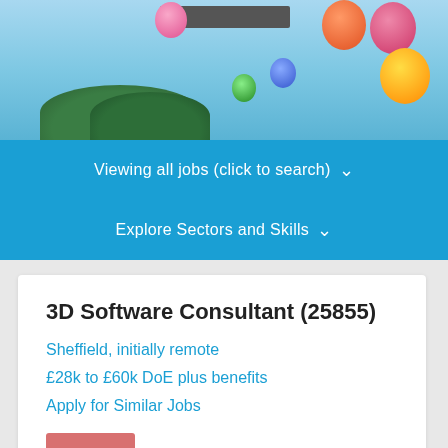[Figure (photo): Hot air balloons floating in a blue sky with trees in the background]
Viewing all jobs (click to search) ▾
Explore Sectors and Skills ▾
3D Software Consultant (25855)
Sheffield, initially remote
£28k to £60k DoE plus benefits
Apply for Similar Jobs
Filled